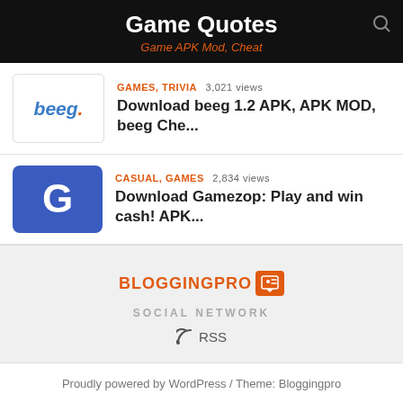Game Quotes
Game APK Mod, Cheat
GAMES, TRIVIA  3,021 views
Download beeg 1.2 APK, APK MOD, beeg Che...
CASUAL, GAMES  2,834 views
Download Gamezop: Play and win cash! APK...
BLOGGINGPRO
SOCIAL NETWORK
RSS
Proudly powered by WordPress / Theme: Bloggingpro